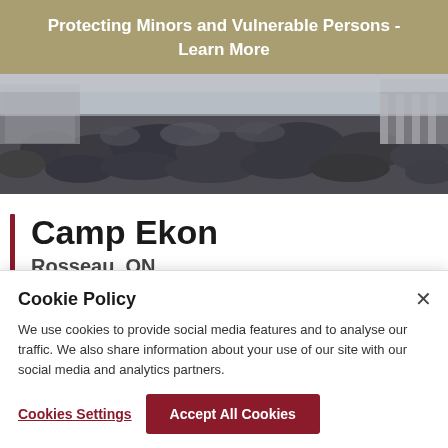Protecting Minors and Vulnerable Persons - Learn More
[Figure (photo): Aerial view of a large crowd of people gathered in an outdoor square or plaza, with buildings and columns visible at the edges.]
Camp Ekon
Rosseau, ON
Cookie Policy
We use cookies to provide social media features and to analyse our traffic. We also share information about your use of our site with our social media and analytics partners.
Cookies Settings
Accept All Cookies